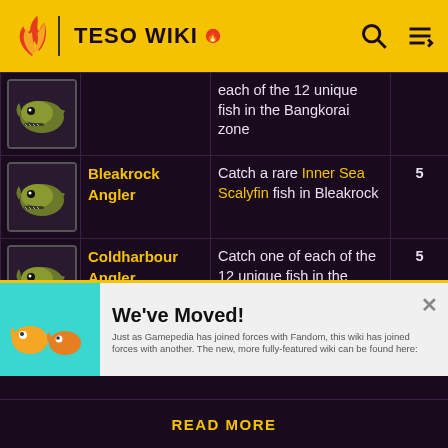TESO WIKI
| Icon | Name | Description | Pts |
| --- | --- | --- | --- |
| [fish icon] |  | each of the 12 unique fish in the Bangkorai zone |  |
| [fish icon] | Bleakrock Angler | Catch a rare Inner Sea Scalyfin fish in Bleakrock | 5 |
| [fish icon] | Coldharbour Angler | Catch one of each of the 12 unique fish in the | 5 |
[Figure (screenshot): We've Moved! advertisement banner from Gamepedia/Fandom wiki migration]
READ MORE